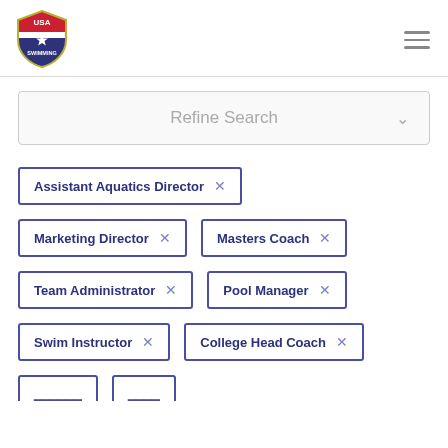[Figure (logo): USA Swimming shield logo with red, white and blue colors]
Refine Search
Assistant Aquatics Director ×
Marketing Director ×
Masters Coach ×
Team Administrator ×
Pool Manager ×
Swim Instructor ×
College Head Coach ×